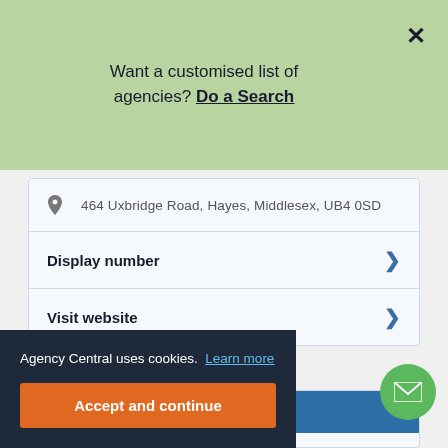Want a customised list of agencies? Do a Search
464 Uxbridge Road, Hayes, Middlesex, UB4 0SD
Display number
Visit website
Ginger Hospitality
Agency Central uses cookies. Learn more
Accept and continue
ality specialises ont-of-House enterprises. Th ssional kitchens and asis. The company has worked with companies like Mytton Fold, Berkely Inns Limited, Balmond Group, Farncombe, and more.